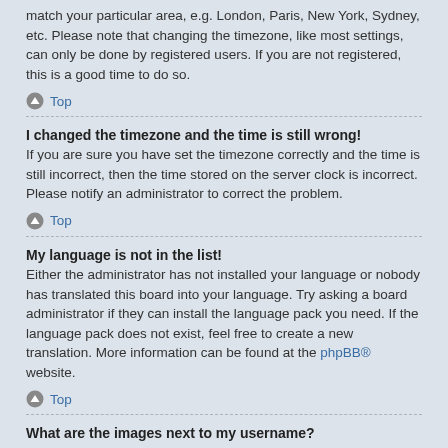match your particular area, e.g. London, Paris, New York, Sydney, etc. Please note that changing the timezone, like most settings, can only be done by registered users. If you are not registered, this is a good time to do so.
Top
I changed the timezone and the time is still wrong!
If you are sure you have set the timezone correctly and the time is still incorrect, then the time stored on the server clock is incorrect. Please notify an administrator to correct the problem.
Top
My language is not in the list!
Either the administrator has not installed your language or nobody has translated this board into your language. Try asking a board administrator if they can install the language pack you need. If the language pack does not exist, feel free to create a new translation. More information can be found at the phpBB® website.
Top
What are the images next to my username?
There are two images which may appear along with a username when viewing posts. One of them may be an image associated with your rank, generally in the form of stars, blocks or dots, indicating how many posts you have made or your